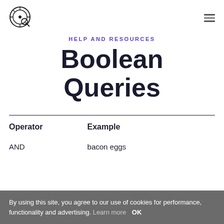HELP AND RESOURCES
Boolean Queries
| Operator | Example |  |
| --- | --- | --- |
| AND | bacon eggs |  |
By using this site, you agree to our use of cookies for performance, functionality and advertising. Learn more OK